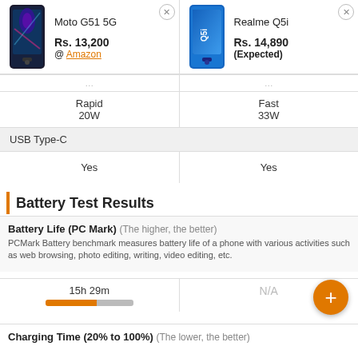| Moto G51 5G | Realme Q5i |
| --- | --- |
| Rs. 13,200 @ Amazon | Rs. 14,890 (Expected) |
| Rapid
20W | Fast
33W |
| USB Type-C |  |
| Yes | Yes |
Battery Test Results
Battery Life (PC Mark) (The higher, the better)
PCMark Battery benchmark measures battery life of a phone with various activities such as web browsing, photo editing, writing, video editing, etc.
| Moto G51 5G | Realme Q5i |
| --- | --- |
| 15h 29m | N/A |
Charging Time (20% to 100%) (The lower, the better)